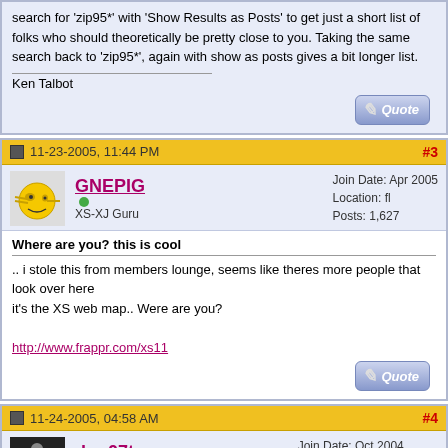search for 'zip95*' with 'Show Results as Posts' to get just a short list of folks who should theoretically be pretty close to you. Taking the same search back to 'zip95*', again with show as posts gives a bit longer list.

Ken Talbot
11-23-2005, 11:44 PM
#3
GNEPIG
XS-XJ Guru
Join Date: Apr 2005
Location: fl
Posts: 1,627
Where are you? this is cool
.. i stole this from members lounge, seems like theres more people that look over here
it's the XS web map.. Were are you?

http://www.frappr.com/xs11
11-24-2005, 04:58 AM
#4
don07tncav
XStremely XSive
Join Date: Oct 2004
Location: West Tennessee
Posts: 358
Where am I? Right here in front of the computer...